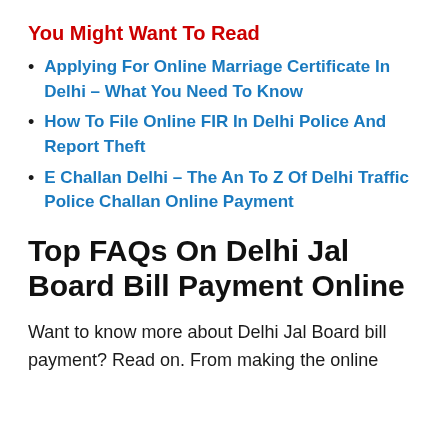You Might Want To Read
Applying For Online Marriage Certificate In Delhi – What You Need To Know
How To File Online FIR In Delhi Police And Report Theft
E Challan Delhi – The An To Z Of Delhi Traffic Police Challan Online Payment
Top FAQs On Delhi Jal Board Bill Payment Online
Want to know more about Delhi Jal Board bill payment? Read on. From making the online